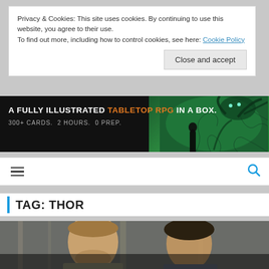Privacy & Cookies: This site uses cookies. By continuing to use this website, you agree to their use.
To find out more, including how to control cookies, see here: Cookie Policy
Close and accept
[Figure (illustration): Advertisement banner with dark background and green fantasy creature/monster illustration on right. Text reads: A FULLY ILLUSTRATED TABLETOP RPG IN A BOX. 300+ CARDS. 2 HOURS. 0 PREP.]
≡  🔍
TAG: THOR
[Figure (photo): Photo of two men, likely actors from a Thor-related movie/show, with a teal heart/social sharing widget overlay on the right side.]